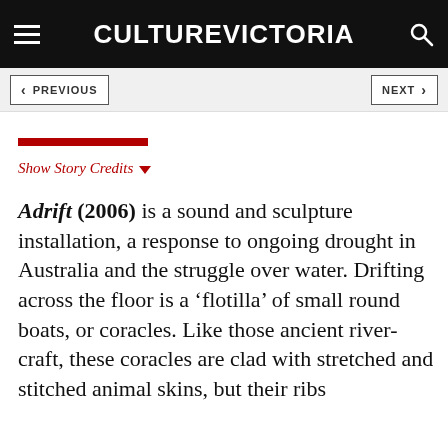CULTURE VICTORIA
PREVIOUS   NEXT
Show Story Credits
Adrift (2006) is a sound and sculpture installation, a response to ongoing drought in Australia and the struggle over water. Drifting across the floor is a ‘flotilla’ of small round boats, or coracles. Like those ancient river-craft, these coracles are clad with stretched and stitched animal skins, but their ribs